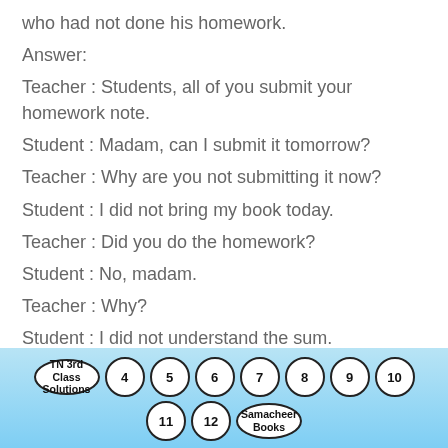who had not done his homework.
Answer:
Teacher : Students, all of you submit your homework note.
Student : Madam, can I submit it tomorrow?
Teacher : Why are you not submitting it now?
Student : I did not bring my book today.
Teacher : Did you do the homework?
Student : No, madam.
Teacher : Why?
Student : I did not understand the sum.
Teacher : Its ok . Bring your book tomorrow. I will teach the sum once again and clear your doubt.
TN 3rd Class Solutions 4 5 6 7 8 9 10 11 12 Samacheer Books